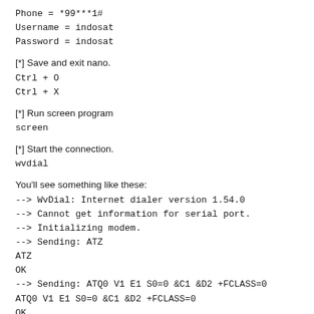Phone = *99***1#
Username = indosat
Password = indosat
[*] Save and exit nano.
Ctrl + O
Ctrl + X
[*] Run screen program
screen
[*] Start the connection.
wvdial
You'll see something like these:
--> WvDial: Internet dialer version 1.54.0
--> Cannot get information for serial port.
--> Initializing modem.
--> Sending: ATZ
ATZ
OK
--> Sending: ATQ0 V1 E1 S0=0 &C1 &D2 +FCLASS=0
ATQ0 V1 E1 S0=0 &C1 &D2 +FCLASS=0
OK